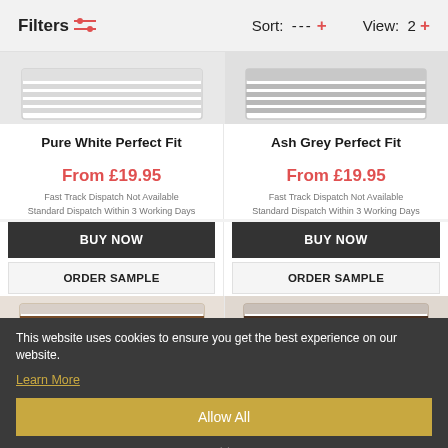Filters  Sort: ---  +   View: 2  +
[Figure (photo): Pure White Perfect Fit blind product image showing white horizontal blind in frame]
Pure White Perfect Fit
From £19.95
Fast Track Dispatch Not Available
Standard Dispatch Within 3 Working Days
BUY NOW
ORDER SAMPLE
[Figure (photo): Ash Grey Perfect Fit blind product image showing grey horizontal blind in frame]
Ash Grey Perfect Fit
From £19.95
Fast Track Dispatch Not Available
Standard Dispatch Within 3 Working Days
BUY NOW
ORDER SAMPLE
[Figure (photo): Brown wood-effect horizontal blind in white frame]
[Figure (photo): Dark brown wood-effect horizontal blind in white frame]
This website uses cookies to ensure you get the best experience on our website.
Learn More
Allow All